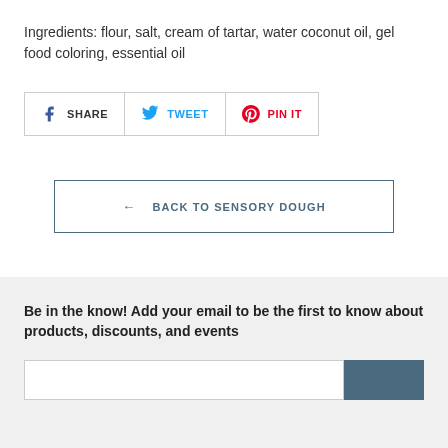Ingredients: flour, salt, cream of tartar, water coconut oil, gel food coloring, essential oil
SHARE  TWEET  PIN IT
← BACK TO SENSORY DOUGH
Be in the know! Add your email to be the first to know about products, discounts, and events